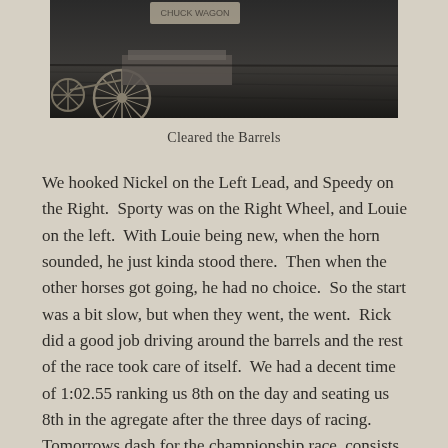[Figure (photo): Black and white photograph showing a horse-drawn wagon or cart, partially visible at top left, against a dark ground/field background.]
Cleared the Barrels
We hooked Nickel on the Left Lead, and Speedy on the Right.  Sporty was on the Right Wheel, and Louie on the left.  With Louie being new, when the horn sounded, he just kinda stood there.  Then when the other horses got going, he had no choice.  So the start was a bit slow, but when they went, the went.  Rick did a good job driving around the barrels and the rest of the race took care of itself.  We had a decent time of 1:02.55 ranking us 8th on the day and seating us 8th in the agregate after the three days of racing.  Tomorrows dash for the championship race, consists of Kurt Bensmiller, Luke